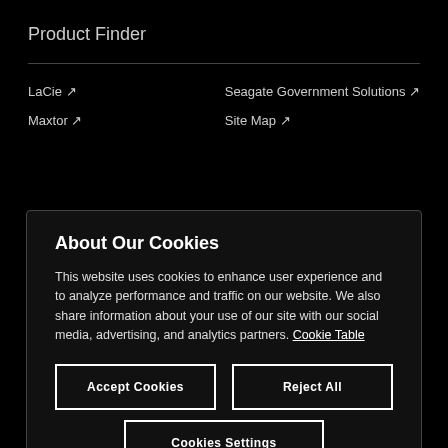Product Finder
LaCie ↗
Seagate Government Solutions ↗
Maxtor ↗
Site Map ↗
About Our Cookies
This website uses cookies to enhance user experience and to analyze performance and traffic on our website. We also share information about your use of our site with our social media, advertising, and analytics partners. Cookie Table
Accept Cookies
Reject All
Cookies Settings